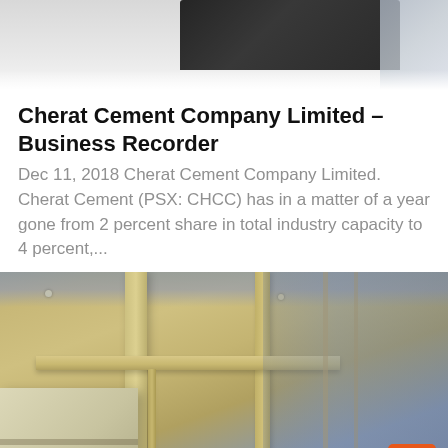[Figure (photo): Top portion of an industrial/mechanical image, showing dark machinery against a grey background, partially cropped at the top of the page.]
Cherat Cement Company Limited – Business Recorder
Dec 11, 2018 Cherat Cement Company Limited. Cherat Cement (PSX: CHCC) has in a matter of a year gone from 2 percent share in total industry capacity to 4 percent,...
[Figure (photo): Industrial cement plant interior photograph showing tan/beige painted structural columns, horizontal beams, and industrial equipment. An orange scroll-to-top button with an upward chevron arrow is visible in the bottom-right corner.]